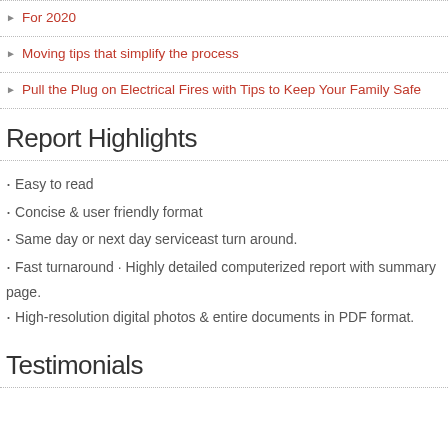For 2020
Moving tips that simplify the process
Pull the Plug on Electrical Fires with Tips to Keep Your Family Safe
Report Highlights
Easy to read
Concise & user friendly format
Same day or next day serviceast turn around.
Fast turnaround · Highly detailed computerized report with summary page.
High-resolution digital photos & entire documents in PDF format.
Testimonials